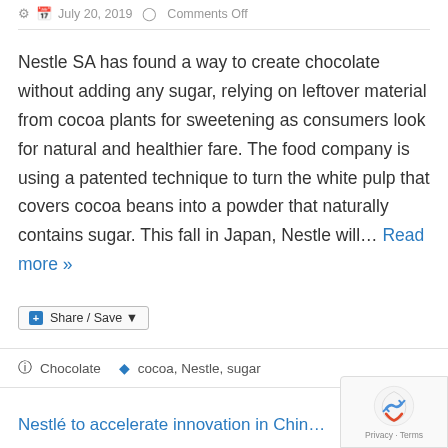July 20, 2019  Comments Off
Nestle SA has found a way to create chocolate without adding any sugar, relying on leftover material from cocoa plants for sweetening as consumers look for natural and healthier fare. The food company is using a patented technique to turn the white pulp that covers cocoa beans into a powder that naturally contains sugar. This fall in Japan, Nestle will… Read more »
Share / Save
Chocolate   cocoa, Nestle, sugar
Nestlé to accelerate innovation in China...